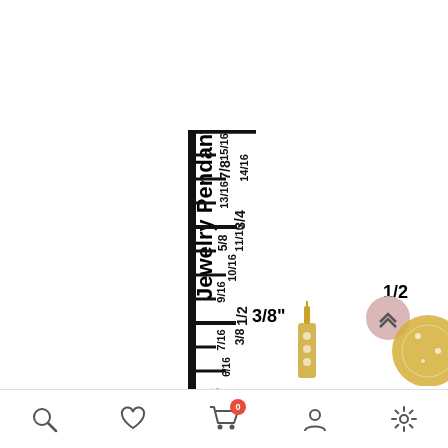[Figure (other): Jewelry pendant ruler showing measurements from 5/16 to 1 inch with fraction markings along a vertical ruler, with text 'Jewelry Pendant Ruler' rotated 90 degrees]
3/8"
1/2
[Figure (illustration): Small gold diamond pendant jewelry item at bottom center]
[Figure (illustration): Partial jewelry item at bottom right]
[Figure (other): Bottom navigation bar with search, heart/wishlist, shopping cart with badge '0', user profile, and settings icons]